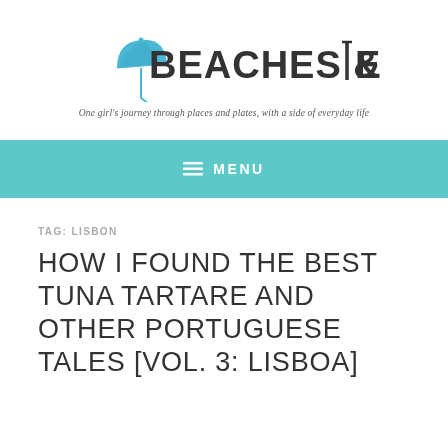[Figure (logo): Beaches & Brie blog logo with a blue cocktail umbrella icon and bold sans-serif text. Subtitle: One girl's journey through places and plates, with a side of everyday life.]
≡ MENU
TAG: LISBON
HOW I FOUND THE BEST TUNA TARTARE AND OTHER PORTUGUESE TALES [VOL. 3: LISBOA]